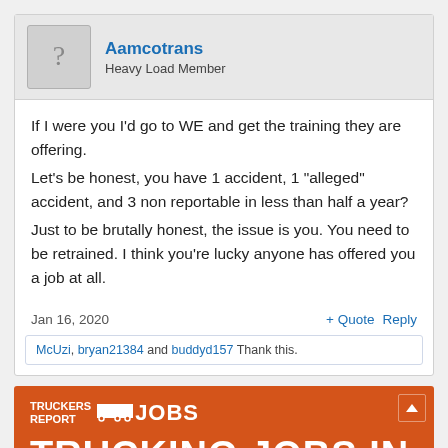[Figure (other): Forum post avatar placeholder with question mark icon]
Aamcotrans
Heavy Load Member
If I were you I'd go to WE and get the training they are offering.
Let's be honest, you have 1 accident, 1 “alleged” accident, and 3 non reportable in less than half a year?
Just to be brutally honest, the issue is you. You need to be retrained. I think you’re lucky anyone has offered you a job at all.
Jan 16, 2020
+ Quote   Reply
McUzi, bryan21384 and buddyd157 Thank this.
[Figure (logo): Truckers Report Jobs logo with orange background and truck icon]
TRUCKING JOBS IN 30